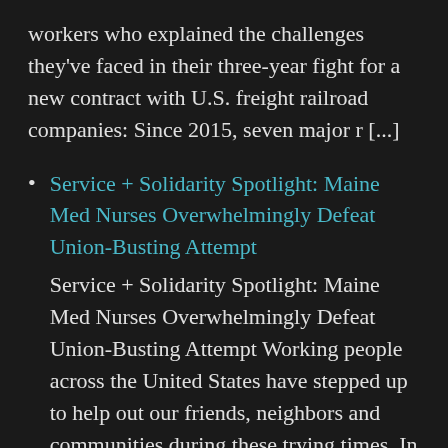workers who explained the challenges they've faced in their three-year fight for a new contract with U.S. freight railroad companies: Since 2015, seven major r [...]
Service + Solidarity Spotlight: Maine Med Nurses Overwhelmingly Defeat Union-Busting Attempt
Service + Solidarity Spotlight: Maine Med Nurses Overwhelmingly Defeat Union-Busting Attempt Working people across the United States have stepped up to help out our friends, neighbors and communities during these trying times. In our regular Service + Solidarity Spotlight series, we'll showcase one of these stories every day.